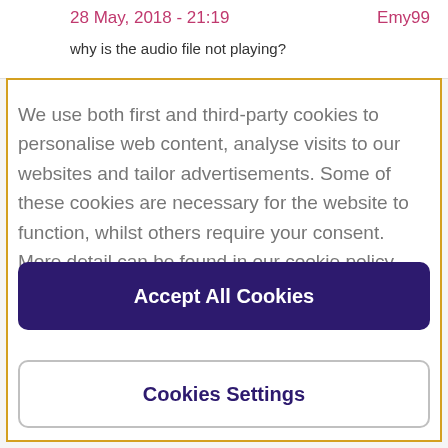28 May, 2018 - 21:19   Emy99
why is the audio file not playing?
We use both first and third-party cookies to personalise web content, analyse visits to our websites and tailor advertisements. Some of these cookies are necessary for the website to function, whilst others require your consent. More detail can be found in our cookie policy and you can tailor your choices in the preference centre.
Accept All Cookies
Cookies Settings